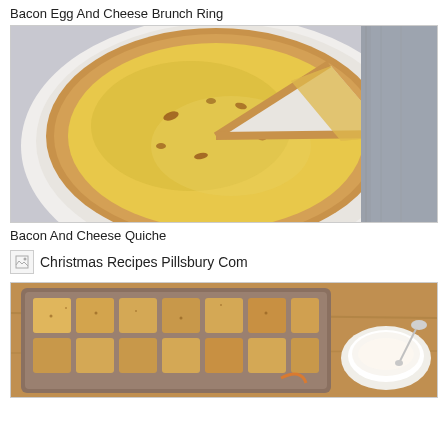Bacon Egg And Cheese Brunch Ring
[Figure (photo): Top-down view of a bacon and cheese quiche in a fluted pie crust on a white plate, with one slice removed, placed on a light grey cloth napkin.]
Bacon And Cheese Quiche
[Figure (photo): Broken image icon placeholder for Christmas Recipes Pillsbury Com]
Christmas Recipes Pillsbury Com
[Figure (photo): Photo of baked dough pieces dusted with cinnamon sugar in a baking dish, with a small white bowl containing a dipping sauce and a spoon on a wooden table.]